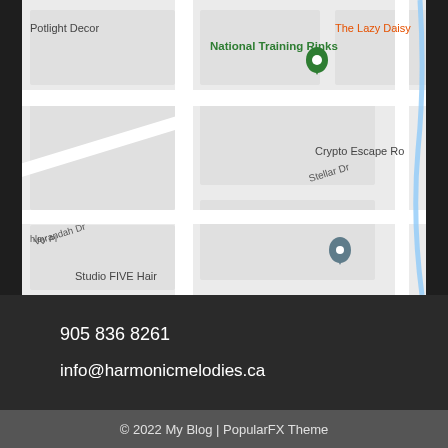[Figure (map): Google Maps screenshot showing street map with locations: National Training Rinks, The Lazy Daisy, Crypto Escape Ro[om], Studio FIVE Hair, Tempco HVAC, TS Tech Canada, Potlight Decor. Streets visible: Stellar Dr, Pony Dr, Verandah Dr. Map pins mark Studio FIVE Hair, Tempco HVAC, TS Tech Canada, and National Training Rinks.]
905 836 8261
info@harmonicmelodies.ca
© 2022 My Blog | PopularFX Theme